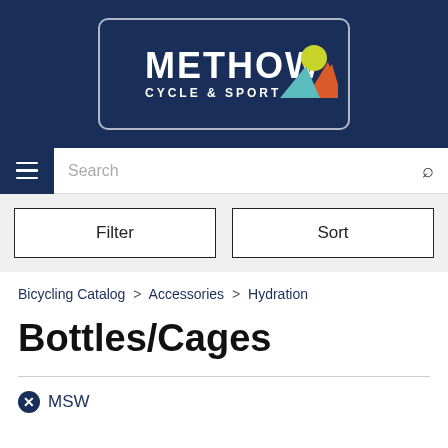[Figure (logo): Methow Cycle & Sport logo — white text on dark navy background with mountain/sun graphic icon, inside a rounded rectangle border]
Search
Filter | Sort
Bicycling Catalog > Accessories > Hydration
Bottles/Cages
MSW